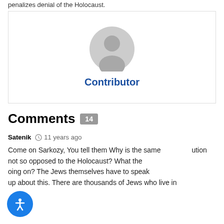penalizes denial of the Holocaust.
[Figure (illustration): User profile card with a grey placeholder avatar icon and the label 'Contributor' in bold blue text, inside a bordered box.]
Comments 14
Satenik  11 years ago
Come on Sarkozy, You tell them Why is the same ution not so opposed to the Holocaust? What the oing on? The Jews themselves have to speak up about this. There are thousands of Jews who live in